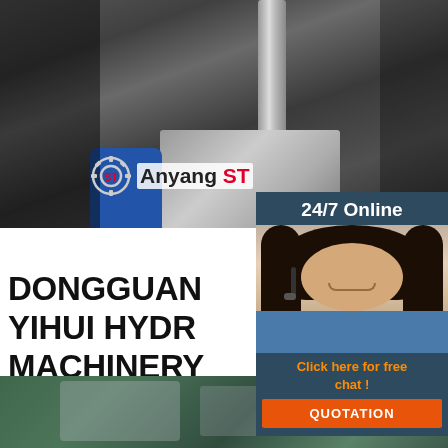[Figure (photo): Industrial punching/hydraulic machine with metal parts, blue sleeve worker visible, Anyang ST logo overlay on machinery photo]
[Figure (photo): Customer service agent woman with headset smiling, with 24/7 Online header, Click here for free chat prompt, and QUOTATION orange button, on dark blue panel]
DONGGUAN YIHUI HYDR MACHINERY CO., LTD. -
2021-9-13u2002·u2002Punching machine trac mechanical processing, high efficiency, low tec requirements for operators, and various mold a that can make products that cannot be achieve mechanical processing., So its use is more an extensive.
[Figure (other): Orange Get Price button]
[Figure (other): TOP navigation icon with orange triangle dots and TOP text in orange]
[Figure (photo): Bottom strip photo of industrial machinery, green tones]